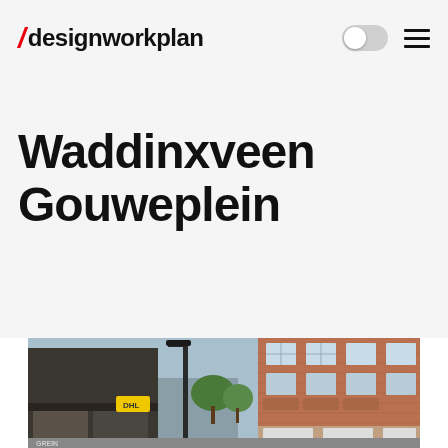/designworkplan
Waddinxveen Gouweplein
[Figure (photo): Street-level photograph of Waddinxveen Gouweplein showing a shopping street with brick apartment buildings, retail storefronts including a yellow DHL sign, a street lamp/post in the foreground, and trees visible between buildings. Modern and older Dutch architecture visible.]